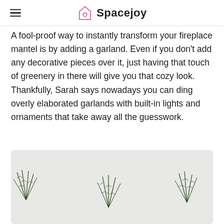Spacejoy
A fool-proof way to instantly transform your fireplace mantel is by adding a garland. Even if you don't add any decorative pieces over it, just having that touch of greenery in there will give you that cozy look. Thankfully, Sarah says nowadays you can ding overly elaborated garlands with built-in lights and ornaments that take away all the guesswork.
[Figure (photo): Photo of green garland branches against a light gray background]